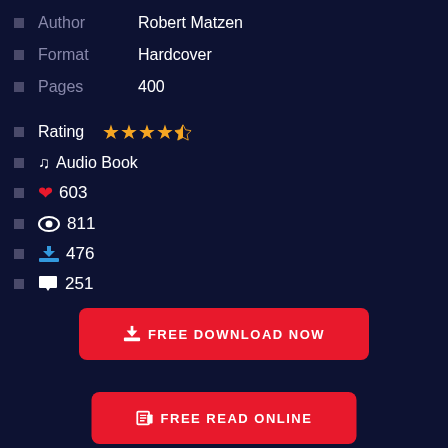Author   Robert Matzen
Format   Hardcover
Pages    400
Rating   ★★★★½
♪ Audio Book
❤ 603
👁 811
⬇ 476
💬 251
FREE DOWNLOAD NOW
FREE READ ONLINE